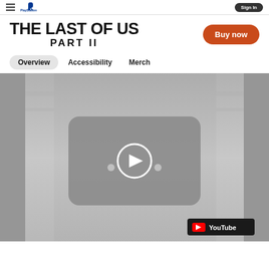The Last of Us Part II – navigation header with hamburger, PlayStation logo, and search/sign-in controls
THE LAST OF US PART II
Buy now
Overview
Accessibility
Merch
[Figure (screenshot): Embedded YouTube video player thumbnail showing a grayscale/dark scene from The Last of Us Part II with a YouTube play button overlay and YouTube badge in the bottom right corner.]